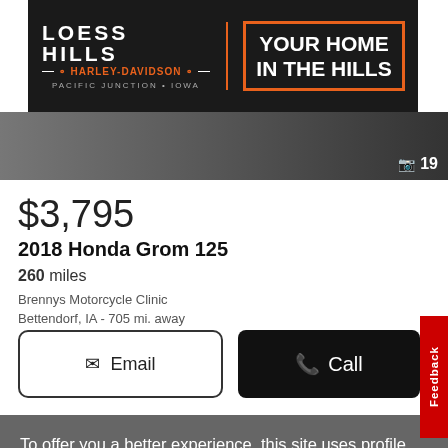[Figure (screenshot): Loess Hills Harley-Davidson advertisement banner: 'YOUR HOME IN THE HILLS', Pacific Junction, Iowa]
[Figure (photo): Motorcycle photo strip with image count indicator showing 19 photos]
$3,795
2018 Honda Grom 125
260 miles
Brennys Motorcycle Clinic
Bettendorf, IA - 705 mi. away
Email
Call
Feedback
To offer you a better experience, this site uses profile cookies, even from third parties. By continuing to use this website you consent to the use of cookies. For more information or to select your preferences consult our Privacy Policy
Cookie Settings
OK